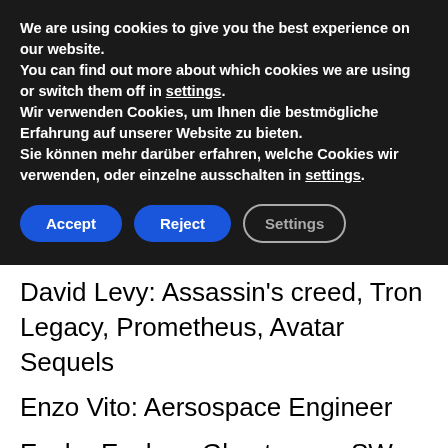We are using cookies to give you the best experience on our website.
You can find out more about which cookies we are using or switch them off in settings.
Wir verwenden Cookies, um Ihnen die bestmögliche Erfahrung auf unserer Website zu bieten.
Sie können mehr darüber erfahren, welche Cookies wir verwenden, oder einzelne ausschalten in settings.
Accept  Reject  Settings
David Levy: Assassin's creed, Tron Legacy, Prometheus, Avatar Sequels
Enzo Vito: Aersospace Engineer
Encho Enchev: Ghost recon SW, Assassin's creed III liberation, A.C. IV Black Flag,Tom Clancy's the division